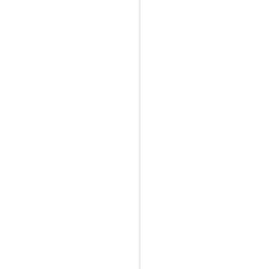tur
blu
wo
cha
a
wh
lot
giv
hov
our
pol
ins
wo
Yo
get
pol
sig
to
diff
gro
but
the
day
to-